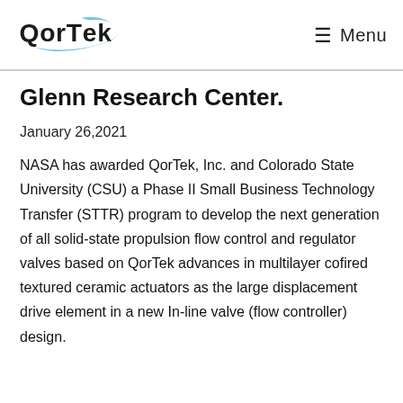QorTek  ☰ Menu
Glenn Research Center.
January 26,2021
NASA has awarded QorTek, Inc. and Colorado State University (CSU) a Phase II Small Business Technology Transfer (STTR) program to develop the next generation of all solid-state propulsion flow control and regulator valves based on QorTek advances in multilayer cofired textured ceramic actuators as the large displacement drive element in a new In-line valve (flow controller) design.